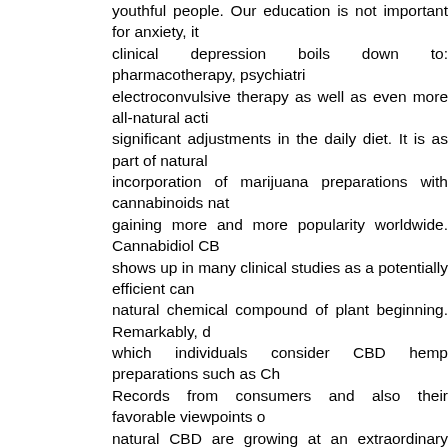youthful people. Our education is not important for anxiety, it clinical depression boils down to: pharmacotherapy, psychiatri electroconvulsive therapy as well as even more all-natural acti significant adjustments in the daily diet. It is as part of natural incorporation of marijuana preparations with cannabinoids nat gaining more and more popularity worldwide. Cannabidiol CB shows up in many clinical studies as a potentially efficient can natural chemical compound of plant beginning. Remarkably, d which individuals consider CBD hemp preparations such as Ch Records from consumers and also their favorable viewpoints o natural CBD are growing at an extraordinary speed. THC as w in the marijuana plant are THC (Δ9-tetrahydrocannabinol) as v means that CBD decreases the impacts of THC. What are these euphoria, impacts cognitive features, however likewise kicks b consideration damaging to the human brain. Extreme usage of long-term unfavorable modifications in cognitive function. Bo body. Their action, as currently stated, is contradictory. Cbd-a- CBD slows down the depletion of anandamide resources, and a indicate that THC is only an unsafe cannabinoid and must not hemp preparations is also needed in order to acquire the so-cal in such a marginal and, importantly, legal amount. This amoun Collaborating, THC and CBD have higher capacity than either its significance for individuals suffering from anxiety? Read on endocannabinoid system is a vital system in charge of the guid administration, neurohormonal and also neuroimmune links, m metabolic process. The endocannabinoid system consists of a